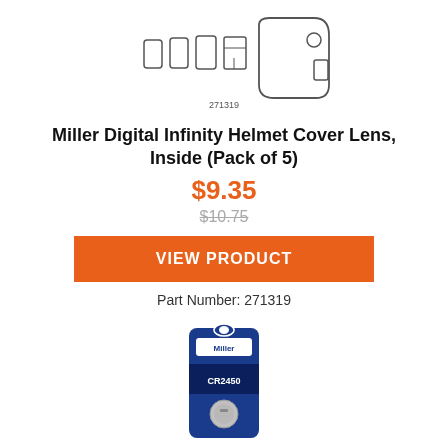[Figure (illustration): Exploded view diagram of helmet lens components with part number 271319 label below]
Miller Digital Infinity Helmet Cover Lens, Inside (Pack of 5)
$9.35
$10.75
VIEW PRODUCT
Part Number: 271319
[Figure (photo): Photo of Miller battery CR2450 product package, blue packaging with coin cell battery visible]
Miller Digital Infinity Helmet Battery CR2450